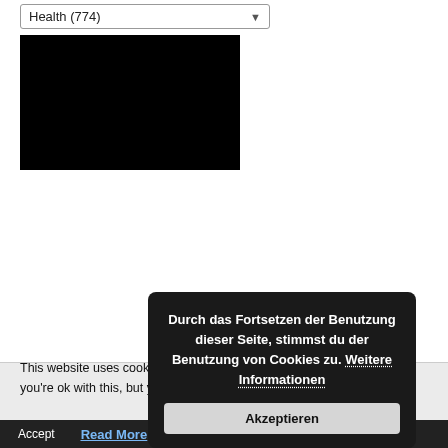Health (774)
[Figure (photo): Black rectangle image placeholder]
This website uses cookies to improve your experience. We'll assume you're ok with this, but you can opt-out if you wish.
[Figure (screenshot): German cookie consent overlay popup with text: Durch das Fortsetzen der Benutzung dieser Seite, stimmst du der Benutzung von Cookies zu. Weitere Informationen. Button: Akzeptieren]
Accept
Read More